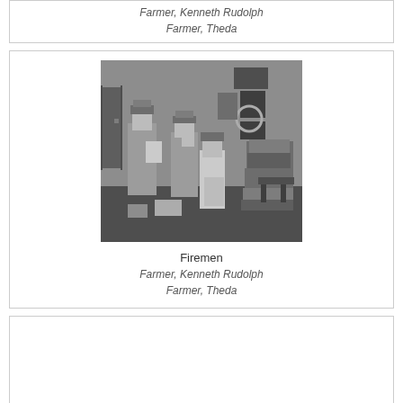Farmer, Kenneth Rudolph
Farmer, Theda
[Figure (photo): Black and white photograph of firemen with a child, surrounded by boxes and bags in what appears to be a fire station interior.]
Firemen
Farmer, Kenneth Rudolph
Farmer, Theda